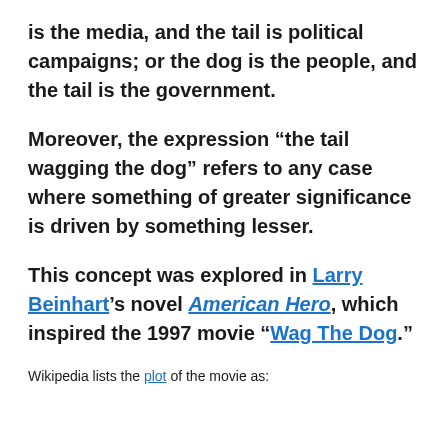is the media, and the tail is political campaigns; or the dog is the people, and the tail is the government.
Moreover, the expression “the tail wagging the dog” refers to any case where something of greater significance is driven by something lesser.
This concept was explored in Larry Beinhart’s novel American Hero, which inspired the 1997 movie “Wag The Dog.”
Wikipedia lists the plot of the movie as: